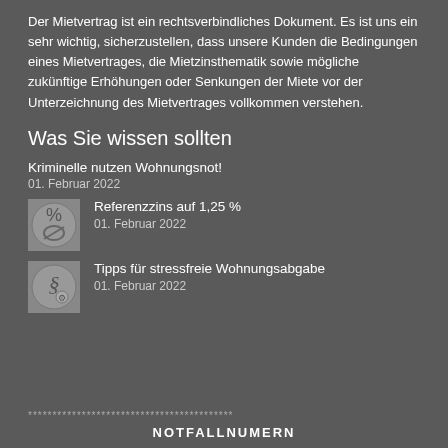Der Mietvertrag ist ein rechtsverbindliches Dokument. Es ist uns ein sehr wichtig, sicherzustellen, dass unsere Kunden die Bedingungen eines Mietvertrages, die Mietzinsthematik sowie mögliche zukünftige Erhöhungen oder Senkungen der Miete vor der Unterzeichnung des Mietvertrages vollkommen verstehen.
Was Sie wissen sollten
Kriminelle nutzen Wohnungsnot!
01. Februar 2022
Referenzzins auf 1,25 %
01. Februar 2022
Tipps für stressfreie Wohnungsabgabe
01. Februar 2022
******************************************
NOTFALLNUMERN